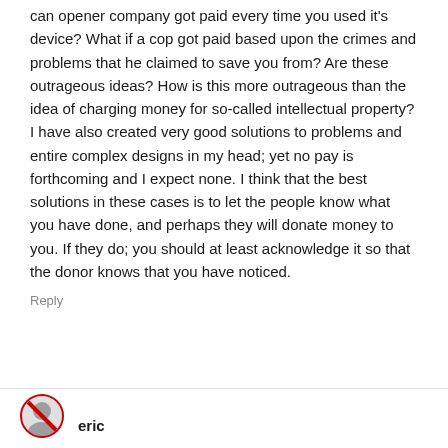can opener company got paid every time you used it's device? What if a cop got paid based upon the crimes and problems that he claimed to save you from? Are these outrageous ideas? How is this more outrageous than the idea of charging money for so-called intellectual property? I have also created very good solutions to problems and entire complex designs in my head; yet no pay is forthcoming and I expect none. I think that the best solutions in these cases is to let the people know what you have done, and perhaps they will donate money to you. If they do; you should at least acknowledge it so that the donor knows that you have noticed.
Reply
eric